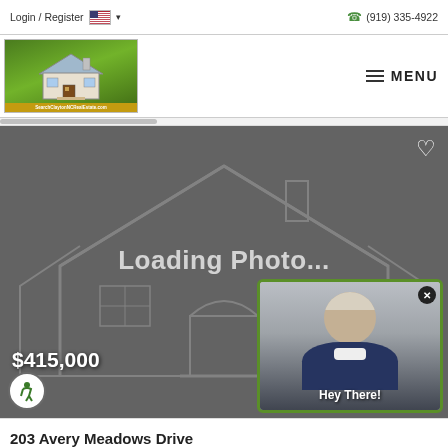Login / Register  (919) 335-4922  MENU
[Figure (screenshot): Real estate website logo showing a miniature house on green grass with text SearchClaytonNCRealEstate.com]
[Figure (photo): Loading photo placeholder with house outline on dark grey background showing price $415,000 and a video popup with a man saying Hey There!]
$415,000
203 Avery Meadows Drive